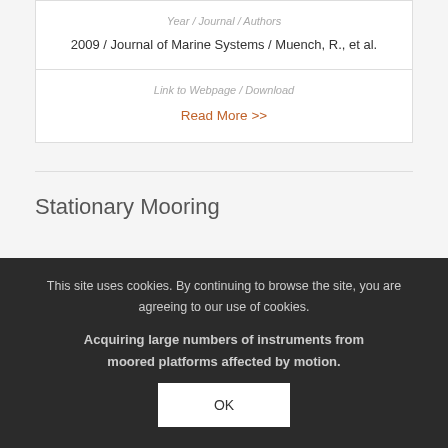| Year / Journal / Authors |
| --- |
| 2009 / Journal of Marine Systems / Muench, R., et al. |
Link to Webpage / Download
Read More >>
Stationary Mooring
This site uses cookies. By continuing to browse the site, you are agreeing to our use of cookies.
Acquiring large numbers of measurements from moored platforms affected by motion.